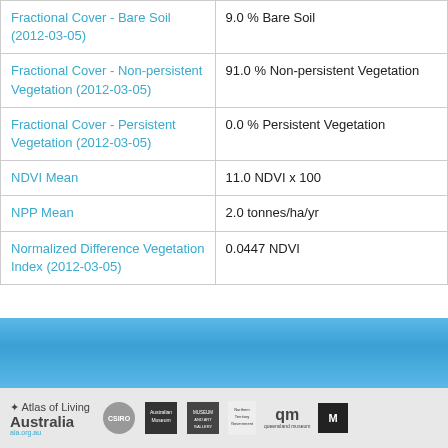| Property | Value |
| --- | --- |
| Fractional Cover - Bare Soil (2012-03-05) | 9.0 % Bare Soil |
| Fractional Cover - Non-persistent Vegetation (2012-03-05) | 91.0 % Non-persistent Vegetation |
| Fractional Cover - Persistent Vegetation (2012-03-05) | 0.0 % Persistent Vegetation |
| NDVI Mean | 11.0 NDVI x 100 |
| NPP Mean | 2.0 tonnes/ha/yr |
| Normalized Difference Vegetation Index (2012-03-05) | 0.0447 NDVI |
[Figure (other): Blue banner/divider strip]
[Figure (logo): Footer logos: Atlas of Living Australia, CSIRO, Australian Museum, Museum and Art Gallery, Northern Territory Government, qm queensland museum, Museum Victoria]